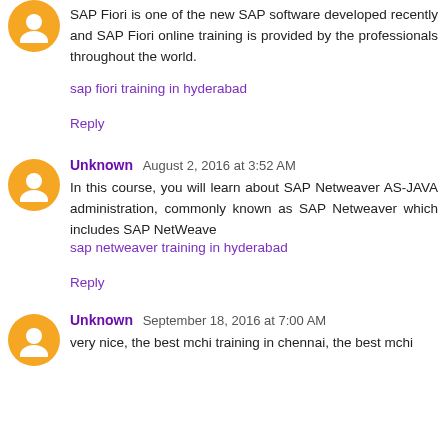SAP Fiori is one of the new SAP software developed recently and SAP Fiori online training is provided by the professionals throughout the world.
sap fiori training in hyderabad
Reply
Unknown  August 2, 2016 at 3:52 AM
In this course, you will learn about SAP Netweaver AS-JAVA administration, commonly known as SAP Netweaver which includes SAP NetWeave
sap netweaver training in hyderabad
Reply
Unknown  September 18, 2016 at 7:00 AM
very nice, the best mchi training in chennai, the best mchi